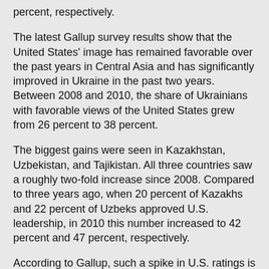percent, respectively.
The latest Gallup survey results show that the United States' image has remained favorable over the past years in Central Asia and has significantly improved in Ukraine in the past two years. Between 2008 and 2010, the share of Ukrainians with favorable views of the United States grew from 26 percent to 38 percent.
The biggest gains were seen in Kazakhstan, Uzbekistan, and Tajikistan. All three countries saw a roughly two-fold increase since 2008. Compared to three years ago, when 20 percent of Kazakhs and 22 percent of Uzbeks approved U.S. leadership, in 2010 this number increased to 42 percent and 47 percent, respectively.
According to Gallup, such a spike in U.S. ratings is the response of these Central Asian states to President Barack Obama's landmark speech in Cairo. “That may have influenced approval in the region, given that the majority of its population is Muslim,” explains Gallup.